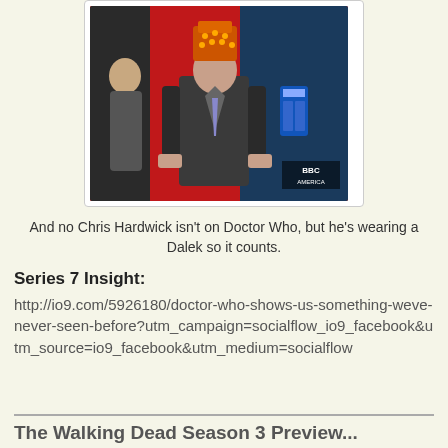[Figure (photo): Man wearing a Dalek hat/costume on his head, standing in front of a BBC America backdrop. The background shows a red display area with Doctor Who imagery. The man is wearing a suit.]
And no Chris Hardwick isn't on Doctor Who, but he's wearing a Dalek so it counts.
Series 7 Insight:
http://io9.com/5926180/doctor-who-shows-us-something-weve-never-seen-before?utm_campaign=socialflow_io9_facebook&utm_source=io9_facebook&utm_medium=socialflow
The Walking Dead Season 3 Preview...